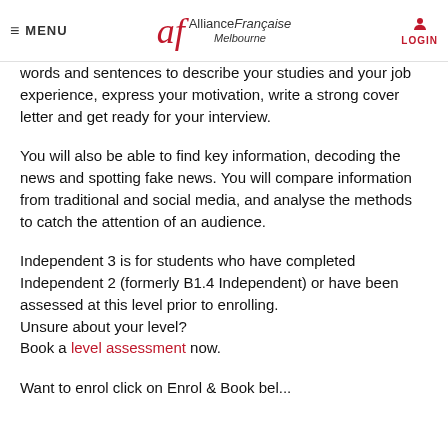MENU | Alliance Française Melbourne | LOGIN
words and sentences to describe your studies and your job experience, express your motivation, write a strong cover letter and get ready for your interview.
You will also be able to find key information, decoding the news and spotting fake news. You will compare information from traditional and social media, and analyse the methods to catch the attention of an audience.
Independent 3 is for students who have completed Independent 2 (formerly B1.4 Independent) or have been assessed at this level prior to enrolling. Unsure about your level? Book a level assessment now.
Want to enrol click on Enrol & Book below...